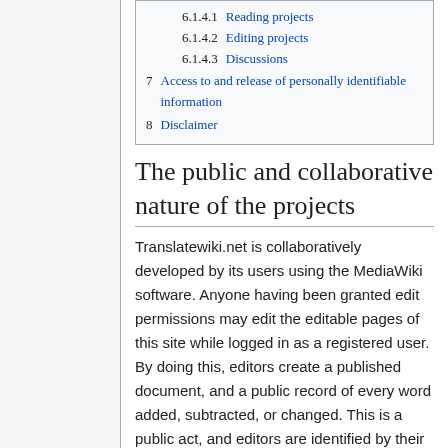6.1.4.1 Reading projects
6.1.4.2 Editing projects
6.1.4.3 Discussions
7 Access to and release of personally identifiable information
8 Disclaimer
The public and collaborative nature of the projects
Translatewiki.net is collaboratively developed by its users using the MediaWiki software. Anyone having been granted edit permissions may edit the editable pages of this site while logged in as a registered user. By doing this, editors create a published document, and a public record of every word added, subtracted, or changed. This is a public act, and editors are identified by their username or IP address.